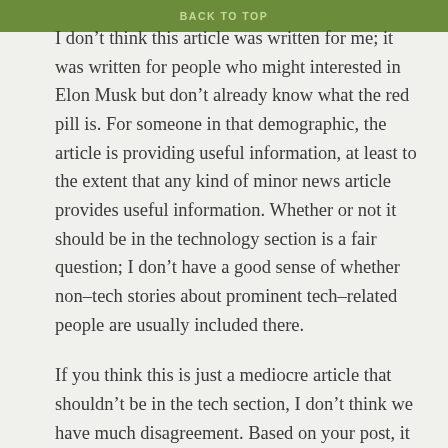BACK TO TOP
I don’t think this article was written for me; it was written for people who might interested in Elon Musk but don’t already know what the red pill is. For someone in that demographic, the article is providing useful information, at least to the extent that any kind of minor news article provides useful information. Whether or not it should be in the technology section is a fair question; I don’t have a good sense of whether non–tech stories about prominent tech–related people are usually included there.
If you think this is just a mediocre article that shouldn’t be in the tech section, I don’t think we have much disagreement. Based on your post, it seemed like you thought